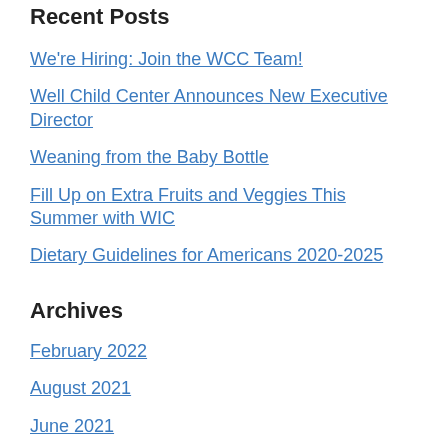Recent Posts
We're Hiring: Join the WCC Team!
Well Child Center Announces New Executive Director
Weaning from the Baby Bottle
Fill Up on Extra Fruits and Veggies This Summer with WIC
Dietary Guidelines for Americans 2020-2025
Archives
February 2022
August 2021
June 2021
May 2021
March 2021